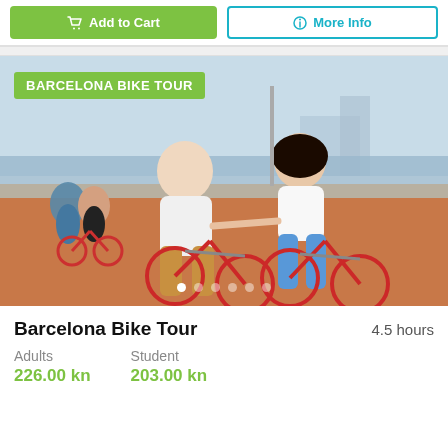Add to Cart
More Info
[Figure (photo): Two people riding red bikes side by side on a Barcelona waterfront promenade, smiling and holding hands. A few other people are visible in the background along with the Barcelona skyline. A green badge reading 'BARCELONA BIKE TOUR' is overlaid in the top-left corner. Carousel navigation dots are at the bottom.]
Barcelona Bike Tour
4.5 hours
Adults
Student
226.00 kn
203.00 kn